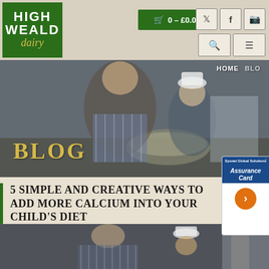[Figure (logo): High Weald Dairy logo - green background with white bold text HIGH WEALD and gold italic text dairy]
[Figure (screenshot): Shopping cart button showing 0 - £0.00 in green, social media icons for Twitter, Facebook, Instagram, search icon and hamburger menu icon]
[Figure (photo): Hero banner photo of a mother and child wearing chef hats cooking together in a kitchen with a mixing bowl]
BLOG
5 SIMPLE AND CREATIVE WAYS TO ADD MORE CALCIUM INTO YOUR CHILD'S DIET
[Figure (photo): Photo of woman and child in chef hats cooking in a kitchen, partial view at bottom of page]